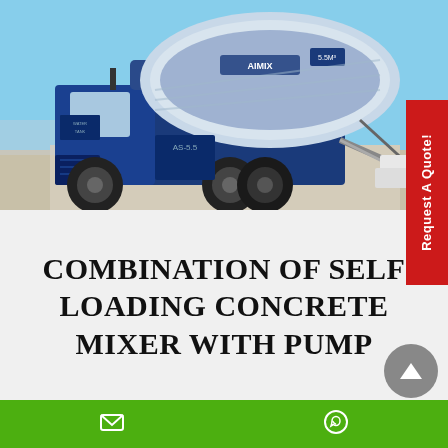[Figure (photo): A blue and white self-loading concrete mixer truck (AIMIX brand, AS-5.5 model) parked outdoors on a paved surface with open sky background. The mixer has a large rotating drum on top and visible discharge chute.]
Request A Quote!
COMBINATION OF SELF LOADING CONCRETE MIXER WITH PUMP
Email icon and WhatsApp icon on green bar